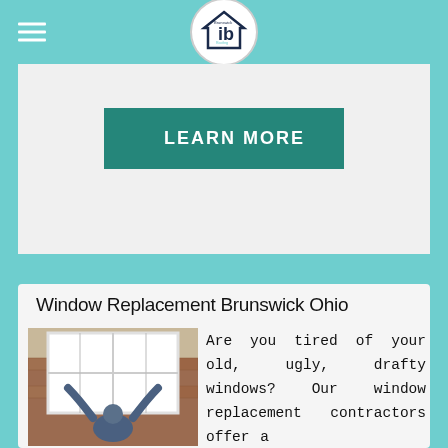Brunswick Roofing & Exterior (logo)
LEARN MORE
Window Replacement Brunswick Ohio
[Figure (photo): A man installing or removing a white window frame from a brick home exterior]
Are you tired of your old, ugly, drafty windows? Our window replacement contractors offer a